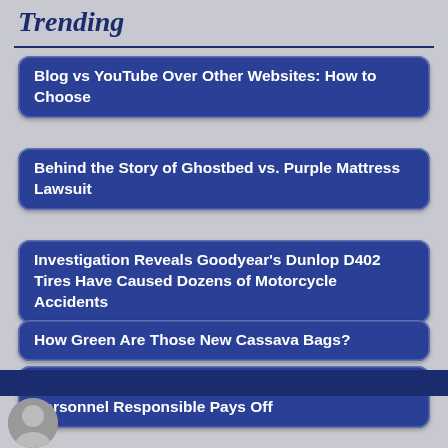Trending
Blog vs YouTube Over Other Websites: How to Choose
Behind the Story of Ghostbed vs. Purple Mattress Lawsuit
Investigation Reveals Goodyear’s Dunlop D402 Tires Have Caused Dozens of Motorcycle Accidents
How Green Are Those New Cassava Bags?
Amputee’s Third Attempt at Holding Medical Personnel Responsible Pays Off
[Figure (photo): Partial photo of a person visible at bottom left, with 'About Page' text partially visible]